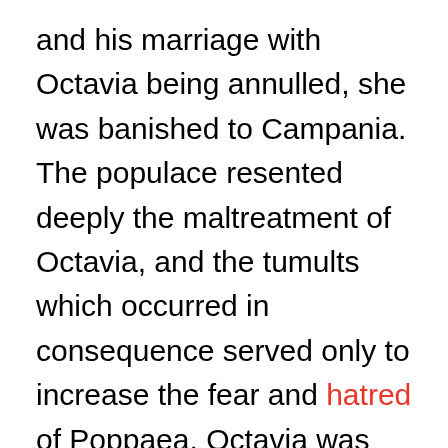and his marriage with Octavia being annulled, she was banished to Campania. The populace resented deeply the maltreatment of Octavia, and the tumults which occurred in consequence served only to increase the fear and hatred of Poppaea. Octavia was sent to the island of Pandataria, and there beheaded. Poppaea now assumed the title of Augusta, her image was stamped upon the coin of the Roman State, and her opponents were murdered by dagger or poison. Nero with his mates rioted by night through the city, attacking men, assaulting women, and filled the vacant positions at the imperial Court from the dregs of the city. In the civic administration extravagance was unbounded,